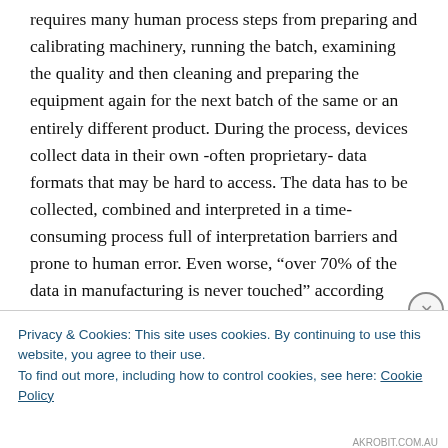requires many human process steps from preparing and calibrating machinery, running the batch, examining the quality and then cleaning and preparing the equipment again for the next batch of the same or an entirely different product. During the process, devices collect data in their own -often proprietary- data formats that may be hard to access. The data has to be collected, combined and interpreted in a time-consuming process full of interpretation barriers and prone to human error. Even worse, “over 70% of the data in manufacturing is never touched” according
Privacy & Cookies: This site uses cookies. By continuing to use this website, you agree to their use.
To find out more, including how to control cookies, see here: Cookie Policy
Close and accept
AKROBIT.COM.AU